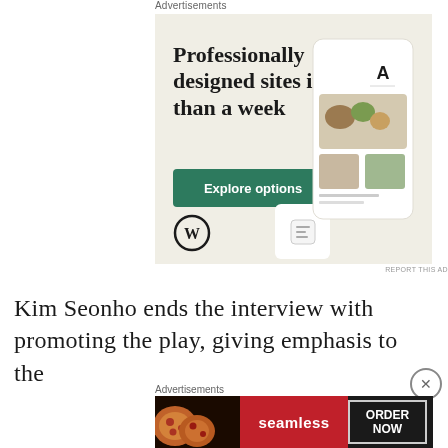Advertisements
[Figure (screenshot): WordPress advertisement: beige background with headline 'Professionally designed sites in less than a week', green 'Explore options' button, WordPress logo, and mockup screens showing a restaurant/food website]
REPORT THIS AD
Kim Seonho ends the interview with promoting the play, giving emphasis to the
Advertisements
[Figure (screenshot): Seamless food delivery advertisement: dark background with pizza image on left, red Seamless logo in center, and 'ORDER NOW' button with white border on right]